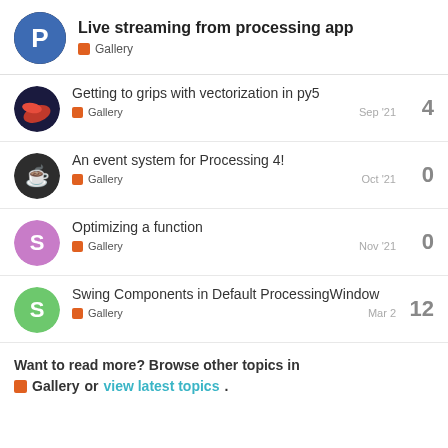Live streaming from processing app — Gallery
Getting to grips with vectorization in py5 — Gallery — Sep '21 — 4 replies
An event system for Processing 4! — Gallery — Oct '21 — 0 replies
Optimizing a function — Gallery — Nov '21 — 0 replies
Swing Components in Default ProcessingWindow — Gallery — Mar 2 — 12 replies
Want to read more? Browse other topics in Gallery or view latest topics.